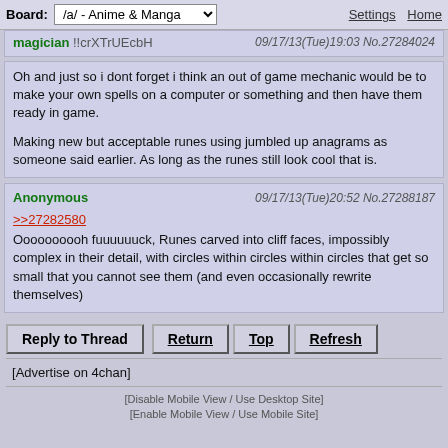Board: /a/ - Anime & Manga   Settings  Home
magician !!crXTrUEcbH   09/17/13(Tue)19:03 No.27284024
Oh and just so i dont forget i think an out of game mechanic would be to make your own spells on a computer or something and then have them ready in game.

Making new but acceptable runes using jumbled up anagrams as someone said earlier. As long as the runes still look cool that is.
Anonymous   09/17/13(Tue)20:52 No.27288187
>>27282580
Oooooooooh fuuuuuuck, Runes carved into cliff faces, impossibly complex in their detail, with circles within circles within circles that get so small that you cannot see them (and even occasionally rewrite themselves)
Reply to Thread   Return   Top   Refresh
[Advertise on 4chan]
[Disable Mobile View / Use Desktop Site]